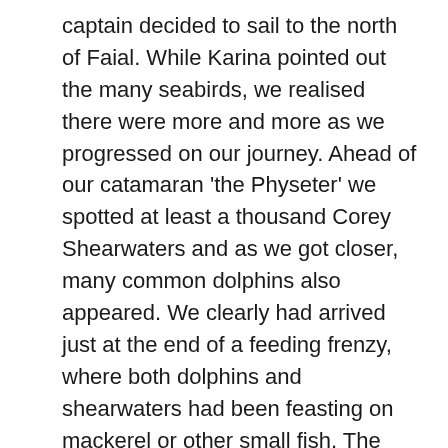captain decided to sail to the north of Faial. While Karina pointed out the many seabirds, we realised there were more and more as we progressed on our journey. Ahead of our catamaran 'the Physeter' we spotted at least a thousand Corey Shearwaters and as we got closer, many common dolphins also appeared. We clearly had arrived just at the end of a feeding frenzy, where both dolphins and shearwaters had been feasting on mackerel or other small fish. The abundance of both species was very impressive. A lucky start for this second group.
In the meantime, amidst all the commotion, the 'vigia' shouted 'baleia de bossa' over the radio and shortly after we saw the blow, dorsal fin and fluke of a humpback whale not far from the boat. The dolphins and sea birds that were the main attraction just minutes ago, immediately became a side show and we managed